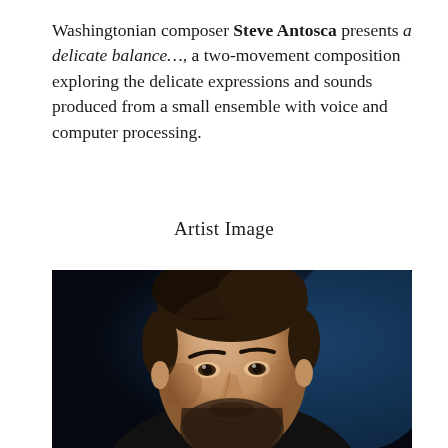Washingtonian composer Steve Antosca presents a delicate balance…, a two-movement composition exploring the delicate expressions and sounds produced from a small ensemble with voice and computer processing.
Artist Image
[Figure (photo): Portrait photograph of Steve Antosca, a man with dark hair and a beard, against a dark blue background, looking upward slightly to his left.]